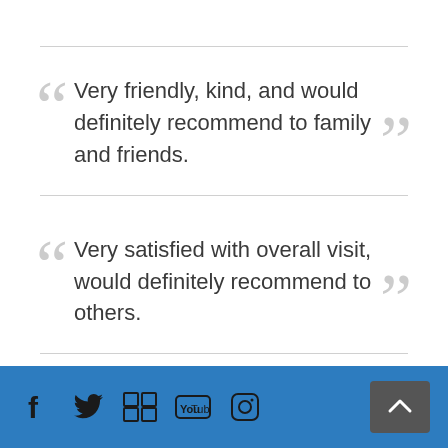Very friendly, kind, and would definitely recommend to family and friends.
Very satisfied with overall visit, would definitely recommend to others.
Dr. Kani used sound conservative...
Social media icons and back-to-top button